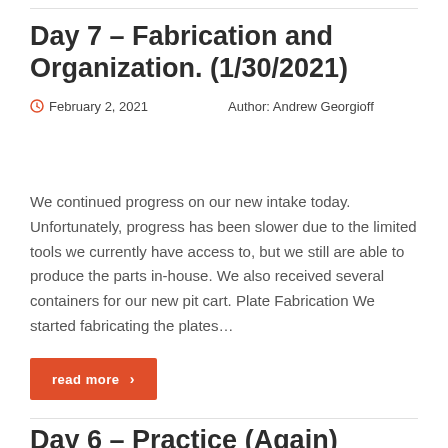Day 7 – Fabrication and Organization. (1/30/2021)
February 2, 2021   Author: Andrew Georgioff
We continued progress on our new intake today. Unfortunately, progress has been slower due to the limited tools we currently have access to, but we still are able to produce the parts in-house. We also received several containers for our new pit cart. Plate Fabrication We started fabricating the plates…
read more ›
Day 6 – Practice (Again) (1/24/2021)